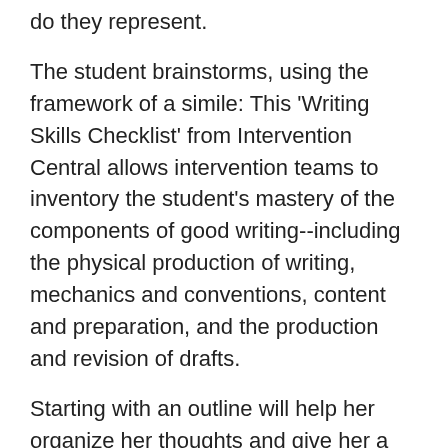do they represent.
The student brainstorms, using the framework of a simile: This 'Writing Skills Checklist' from Intervention Central allows intervention teams to inventory the student's mastery of the components of good writing--including the physical production of writing, mechanics and conventions, content and preparation, and the production and revision of drafts.
Starting with an outline will help her organize her thoughts and give her a better idea of what she wants her article to say. The two cartoons will be used to introduce the lesson on political cartoons and will be used as an opening for me to discuss tolerance and understanding and how I expect both during our discussion.
Have each student select a topic, and then research and write a rough draft of an editorial. Authentication error wifi galaxy s8 Authentication error wifi galaxy s8 music